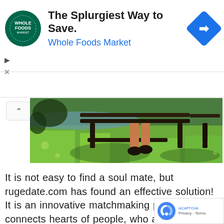[Figure (infographic): Whole Foods Market advertisement banner with circular green logo, bold heading 'The Splurgiest Way to Save.' and blue subheading 'Whole Foods Market', with a blue navigation diamond icon on the right]
[Figure (photo): Outdoor photo showing person's legs and feet sitting on a dark wooden bench over green grass, bright sunlit scene]
It is not easy to find a soul mate, but rugedate.com has found an effective solution! It is an innovative matchmaking platform, that connects hearts of people, who are meant to be together. Registration is open for anyone of 18 years and older. A registering, a new user is asked to fill out detailed... Read more